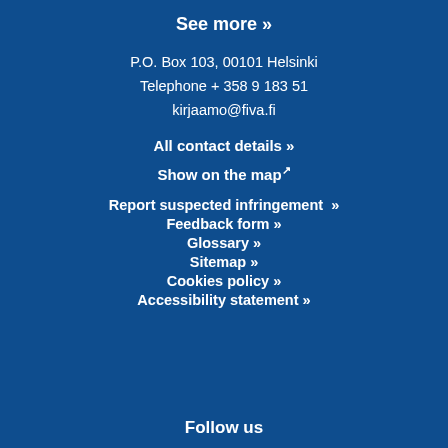See more »
P.O. Box 103, 00101 Helsinki
Telephone + 358 9 183 51
kirjaamo@fiva.fi
All contact details »
Show on the map ↗
Report suspected infringement »
Feedback form »
Glossary »
Sitemap »
Cookies policy »
Accessibility statement »
Follow us